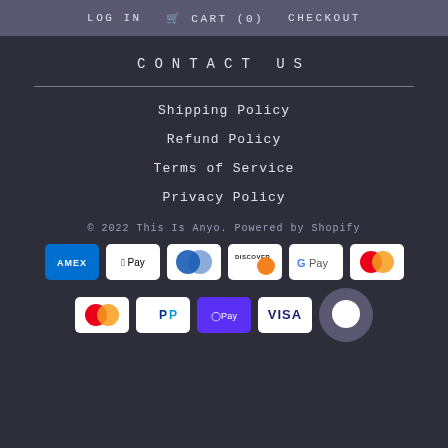LOG IN   CART (0)   CHECKOUT
CONTACT US
Shipping Policy
Refund Policy
Terms of Service
Privacy Policy
© 2022 This Is Anyo. Powered by Shopify
[Figure (logo): Payment method logos: American Express, Apple Pay, Diners Club, Discover, Google Pay, Mastercard (overlap), Mastercard, PayPal, Shop Pay, Visa, and a chat bubble button]